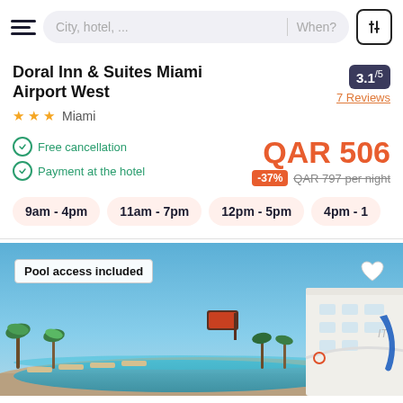City, hotel, ... | When?
Doral Inn & Suites Miami Airport West
★★★ Miami
3.1/5
7 Reviews
Free cancellation
Payment at the hotel
QAR 506
-37%  QAR 797 per night
9am - 4pm
11am - 7pm
12pm - 5pm
4pm - 1
[Figure (photo): Hotel outdoor pool area with blue water, lounge chairs, palm trees, and a white modern hotel building with a blue slide on the right side under a clear blue sky. Label overlay reads 'Pool access included'.]